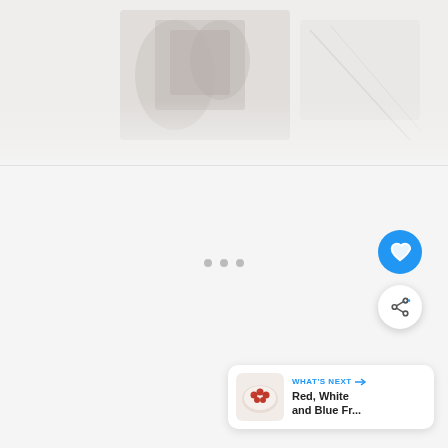[Figure (photo): Faded/washed-out top photo area showing what appears to be food or recipe imagery, very light and nearly white]
[Figure (infographic): White/light gray panel below the photo - app UI screenshot with navigation dots, heart favorite button (blue circle), share button (white circle with share icon), and a 'What's Next' card showing 'Red, White and Blue Fr...' recipe with thumbnail of a berry tart]